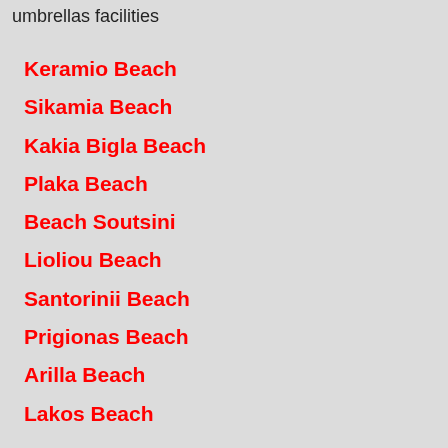umbrellas facilities
Keramio Beach
Sikamia Beach
Kakia Bigla Beach
Plaka Beach
Beach Soutsini
Lioliou Beach
Santorinii Beach
Prigionas Beach
Arilla Beach
Lakos Beach